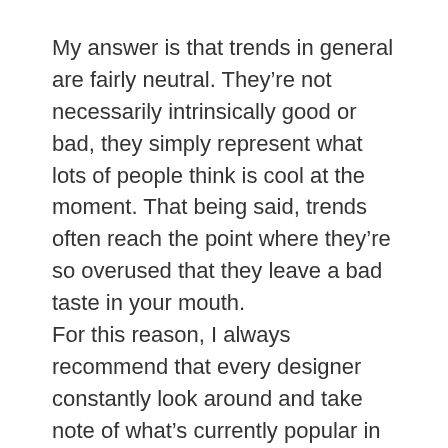My answer is that trends in general are fairly neutral. They're not necessarily intrinsically good or bad, they simply represent what lots of people think is cool at the moment. That being said, trends often reach the point where they're so overused that they leave a bad taste in your mouth.
For this reason, I always recommend that every designer constantly look around and take note of what's currently popular in design. Being familiar with these constructs will make it easier to do your job, whether you're looking to fit in with the crowd or do something completely unique (you have to know what isn't unique to create something that is).